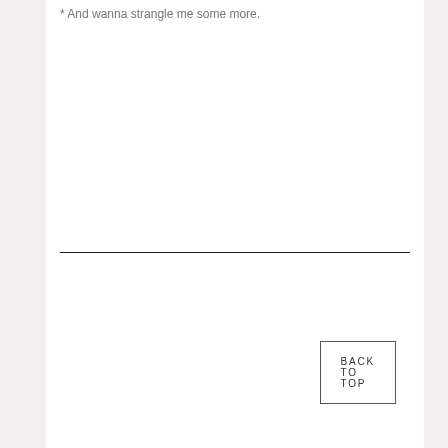* And wanna strangle me some more.
BACK TO TOP